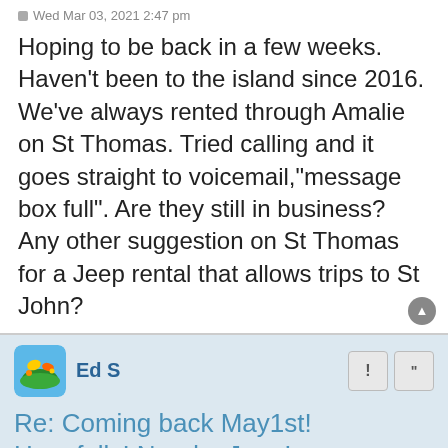Wed Mar 03, 2021 2:47 pm
Hoping to be back in a few weeks. Haven't been to the island since 2016. We've always rented through Amalie on St Thomas. Tried calling and it goes straight to voicemail,"message box full". Are they still in business? Any other suggestion on St Thomas for a Jeep rental that allows trips to St John?
Ed S
Re: Coming back May1st! Hopefully! Need a Jeep!
Wed Mar 03, 2021 2:54 pm